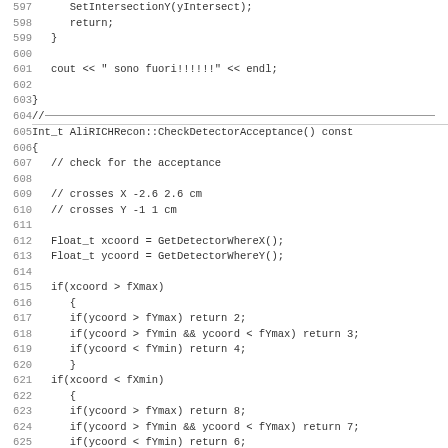Code listing lines 597-628, C++ source code for AliRICHRecon class methods including CheckDetectorAcceptance() const function